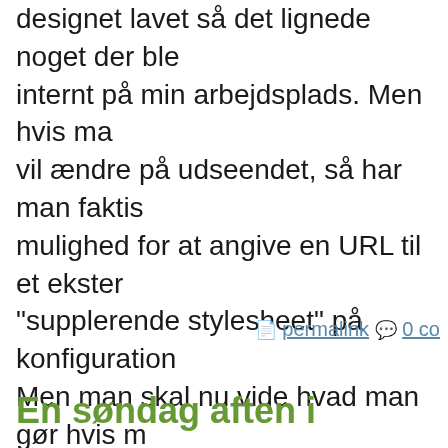designet lavet så det lignede noget der ble internt på min arbejdsplads. Men hvis ma vil ændre på udseendet, så har man faktis mulighed for at angive en URL til et ekster "supplerende stylesheet" på konfigurations Men man skal nu vide hvad man gør hvis m vælger at bruge den mulighed, da ændrin dimensioner og layout på siden kan ødelæ skemaets "effekter".
📄 permalink 💬 0 co
En søndag aften i